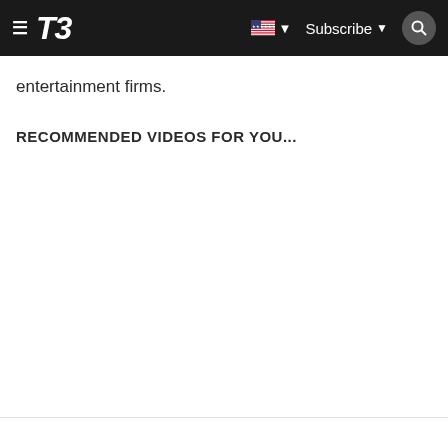T3 — Subscribe
entertainment firms.
RECOMMENDED VIDEOS FOR YOU...